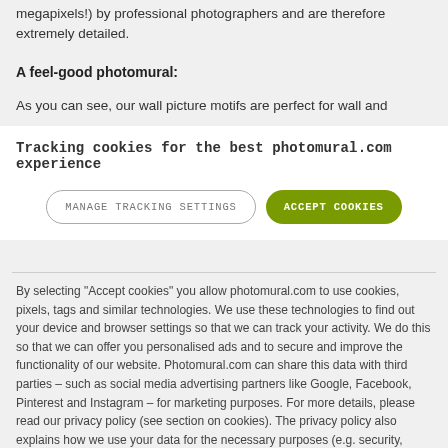megapixels!) by professional photographers and are therefore extremely detailed.
A feel-good photomural:
As you can see, our wall picture motifs are perfect for wall and
Tracking cookies for the best photomural.com experience
MANAGE TRACKING SETTINGS
ACCEPT COOKIES
By selecting "Accept cookies" you allow photomural.com to use cookies, pixels, tags and similar technologies. We use these technologies to find out your device and browser settings so that we can track your activity. We do this so that we can offer you personalised ads and to secure and improve the functionality of our website. Photomural.com can share this data with third parties – such as social media advertising partners like Google, Facebook, Pinterest and Instagram – for marketing purposes. For more details, please read our privacy policy (see section on cookies). The privacy policy also explains how we use your data for the necessary purposes (e.g. security, shopping cart function, registration).